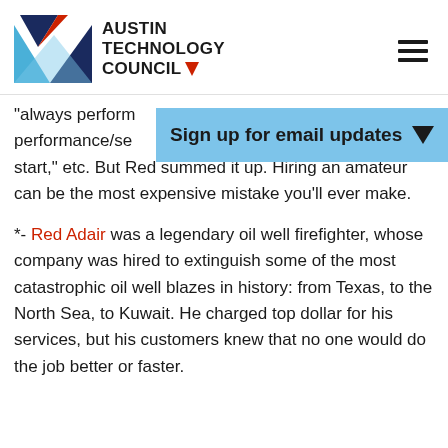[Figure (logo): Austin Technology Council logo with geometric triangles in blue, red, and dark navy, with bold text AUSTIN TECHNOLOGY COUNCIL and a small red triangle after COUNCIL]
“always perform performance/se start,” etc. But Red summed it up. Hiring an amateur can be the most expensive mistake you’ll ever make.
Sign up for email updates
*- Red Adair was a legendary oil well firefighter, whose company was hired to extinguish some of the most catastrophic oil well blazes in history: from Texas, to the North Sea, to Kuwait. He charged top dollar for his services, but his customers knew that no one would do the job better or faster.